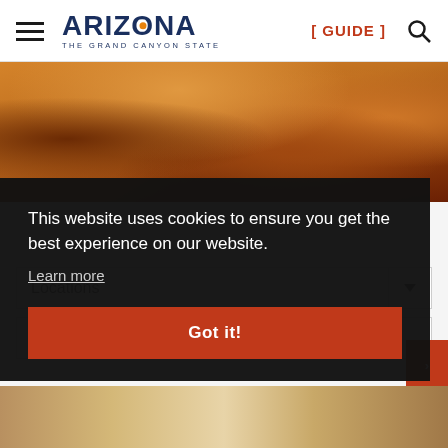[Figure (screenshot): Arizona state government website header with hamburger menu, Arizona 'The Grand Canyon State' logo, [GUIDE] link and search icon]
[Figure (photo): Red-orange sandstone rock formations of Arizona canyon landscape]
Locations
This website uses cookies to ensure you get the best experience on our website.
Learn more
Got it!
[Figure (photo): Partial view of Arizona desert landscape at bottom of page]